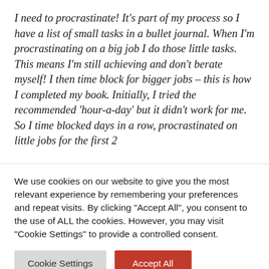I need to procrastinate! It's part of my process so I have a list of small tasks in a bullet journal. When I'm procrastinating on a big job I do those little tasks. This means I'm still achieving and don't berate myself! I then time block for bigger jobs – this is how I completed my book. Initially, I tried the recommended 'hour-a-day' but it didn't work for me. So I time blocked days in a row, procrastinated on little jobs for the first 2
We use cookies on our website to give you the most relevant experience by remembering your preferences and repeat visits. By clicking "Accept All", you consent to the use of ALL the cookies. However, you may visit "Cookie Settings" to provide a controlled consent.